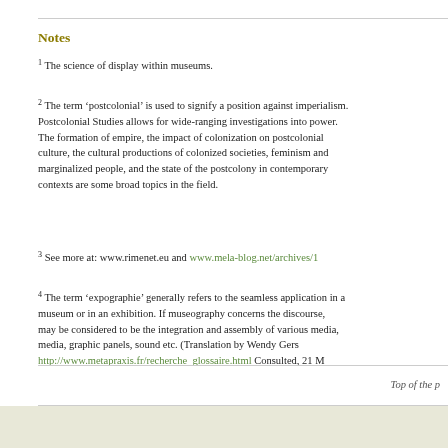Notes
1 The science of display within museums.
2 The term ‘postcolonial’ is used to signify a position against imperialism. Postcolonial Studies allows for wide-ranging investigations into power. The formation of empire, the impact of colonization on postcolonial culture, the cultural productions of colonized societies, feminism and marginalized people, and the state of the postcolony in contemporary contexts are some broad topics in the field.
3 See more at: www.rimenet.eu and www.mela-blog.net/archives/1
4 The term ‘expographie’ generally refers to the seamless application in a museum or in an exhibition. If museography concerns the discourse, expography may be considered to be the integration and assembly of various media, graphic panels, sound etc. (Translation by Wendy Gers http://www.metapraxis.fr/recherche_glossaire.html Consulted, 21 M
Top of the page